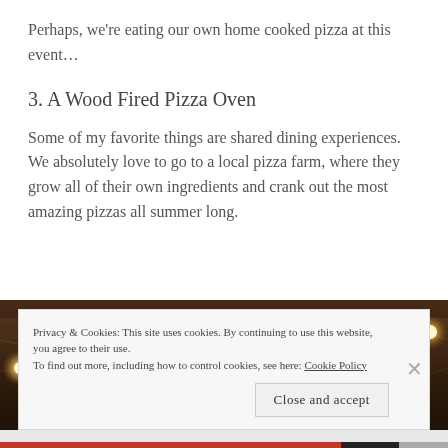Perhaps, we're eating our own home cooked pizza at this event…
3. A Wood Fired Pizza Oven
Some of my favorite things are shared dining experiences. We absolutely love to go to a local pizza farm, where they grow all of their own ingredients and crank out the most amazing pizzas all summer long.
[Figure (photo): Photo of string lights hanging in a warm, dimly lit barn or outdoor space with a dark wooden background.]
Privacy & Cookies: This site uses cookies. By continuing to use this website, you agree to their use. To find out more, including how to control cookies, see here: Cookie Policy
Close and accept